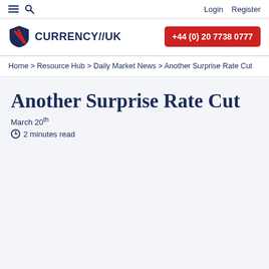Login  Register
[Figure (logo): Currency//UK logo with red and blue shield icon and text CURRENCY//UK, plus red phone button +44 (0) 20 7738 0777]
Home > Resource Hub > Daily Market News > Another Surprise Rate Cut
Another Surprise Rate Cut
March 20th
2 minutes read